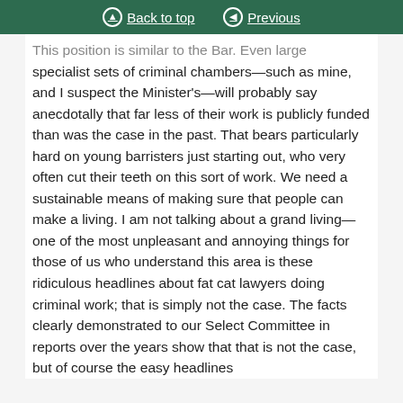Back to top | Previous
This position is similar to the Bar. Even large specialist sets of criminal chambers—such as mine, and I suspect the Minister's—will probably say anecdotally that far less of their work is publicly funded than was the case in the past. That bears particularly hard on young barristers just starting out, who very often cut their teeth on this sort of work. We need a sustainable means of making sure that people can make a living. I am not talking about a grand living—one of the most unpleasant and annoying things for those of us who understand this area is these ridiculous headlines about fat cat lawyers doing criminal work; that is simply not the case. The facts clearly demonstrated to our Select Committee in reports over the years show that that is not the case, but of course the easy headlines